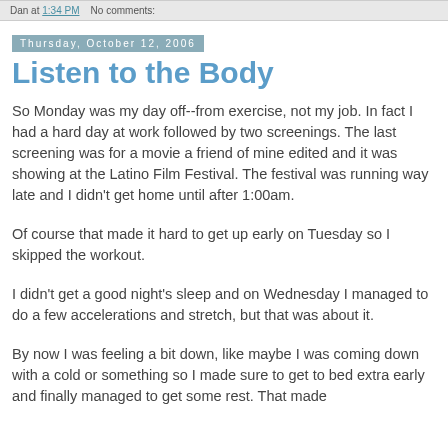Dan at 1:34 PM   No comments:
Thursday, October 12, 2006
Listen to the Body
So Monday was my day off--from exercise, not my job. In fact I had a hard day at work followed by two screenings. The last screening was for a movie a friend of mine edited and it was showing at the Latino Film Festival. The festival was running way late and I didn't get home until after 1:00am.
Of course that made it hard to get up early on Tuesday so I skipped the workout.
I didn't get a good night's sleep and on Wednesday I managed to do a few accelerations and stretch, but that was about it.
By now I was feeling a bit down, like maybe I was coming down with a cold or something so I made sure to get to bed extra early and finally managed to get some rest. That made...